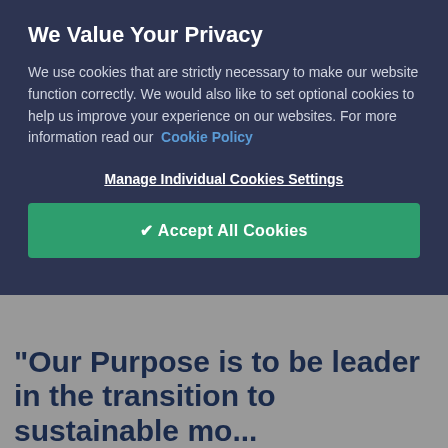We Value Your Privacy
We use cookies that are strictly necessary to make our website function correctly. We would also like to set optional cookies to help us improve your experience on our websites. For more information read our Cookie Policy
Manage Individual Cookies Settings
✔ Accept All Cookies
“Our Purpose is to be leader in the transition to sustainable mo...